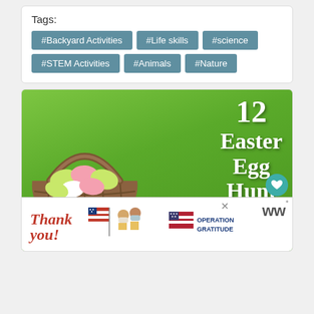Tags:
#Backyard Activities
#Life skills
#science
#STEM Activities
#Animals
#Nature
[Figure (photo): 12 Easter Egg Hunt Ideas — photo of a basket filled with colorful Easter eggs on green grass, with bold white text overlay reading '12 Easter Egg Hunt Ideas']